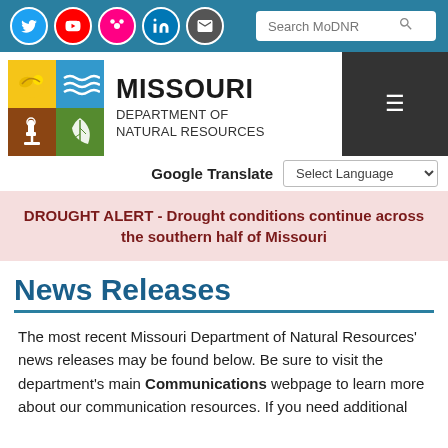Missouri Department of Natural Resources - social icons, search bar, logo, hamburger menu, Google Translate
DROUGHT ALERT - Drought conditions continue across the southern half of Missouri
News Releases
The most recent Missouri Department of Natural Resources' news releases may be found below. Be sure to visit the department's main Communications webpage to learn more about our communication resources. If you need additional